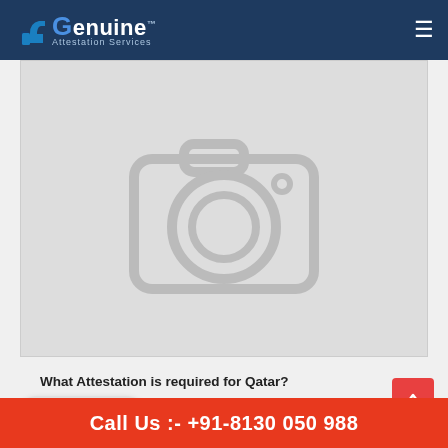Genuine Attestation Services
[Figure (photo): Placeholder image with a blurred camera icon on a light grey background]
What Attestation is required for Qatar?
Chat Now
Call Us :- +91-8130 050 988